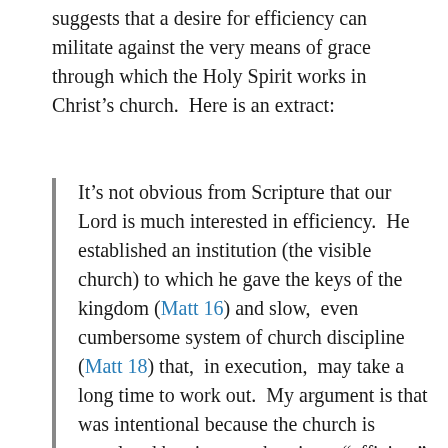suggests that a desire for efficiency can militate against the very means of grace through which the Holy Spirit works in Christ's church. Here is an extract:
It’s not obvious from Scripture that our Lord is much interested in efficiency. He established an institution (the visible church) to which he gave the keys of the kingdom (Matt 16) and slow, even cumbersome system of church discipline (Matt 18) that, in execution, may take a long time to work out. My argument is that was intentional because the church is populated by sinners who, in an “efficient” system would be more apt to use the church not to love and serve one another but to hurt them. There are benefits to efficiency in business. A